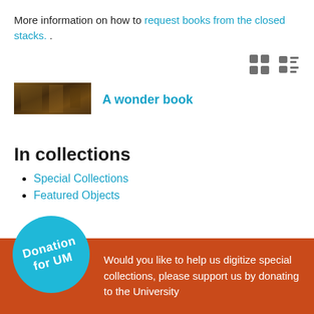More information on how to request books from the closed stacks. .
[Figure (other): View toggle icons: grid view and list view in grey]
[Figure (photo): Thumbnail image of a book with dark earthy tones]
A wonder book
In collections
Special Collections
Featured Objects
[Figure (illustration): Blue circular badge with white text reading 'Donation for UM' on an orange/red footer bar]
Would you like to help us digitize special collections, please support us by donating to the University